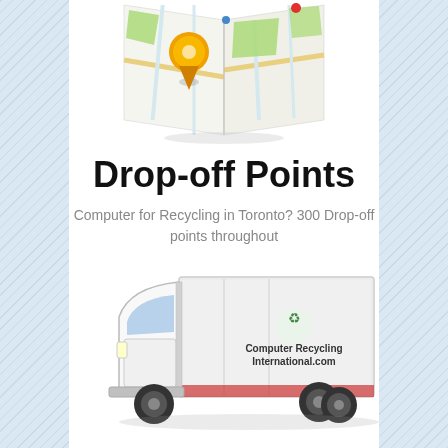[Figure (illustration): A 3D folded map illustration with road grid, green areas, and an orange location pin marker on top.]
Drop-off Points
Computer for Recycling in Toronto? 300 Drop-off points throughout
[Figure (photo): A white box truck with Computer Recycling International.com branding and a recycling symbol logo on the side.]